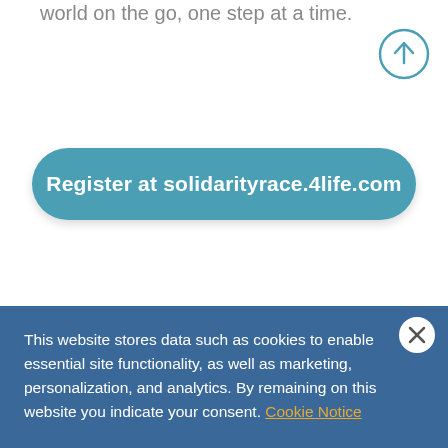world on the go, one step at a time.
[Figure (other): Circular scroll-up button with upward arrow, teal outline style]
Register at solidarityrace.4life.com
This website stores data such as cookies to enable essential site functionality, as well as marketing, personalization, and analytics. By remaining on this website you indicate your consent. Cookie Notice